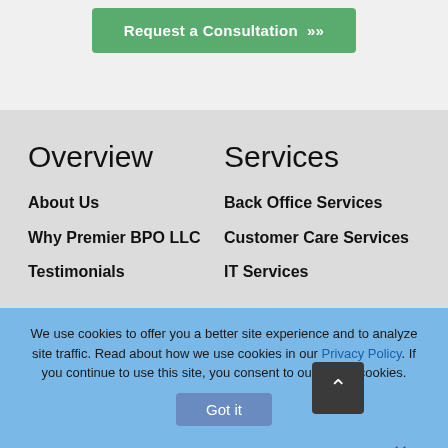[Figure (screenshot): Green 'Request a Consultation >>' button on light gray background]
Overview
Services
About Us
Back Office Services
Why Premier BPO LLC
Customer Care Services
Testimonials
IT Services
We use cookies to offer you a better site experience and to analyze site traffic. Read about how we use cookies in our Privacy Policy. If you continue to use this site, you consent to our use of cookies.